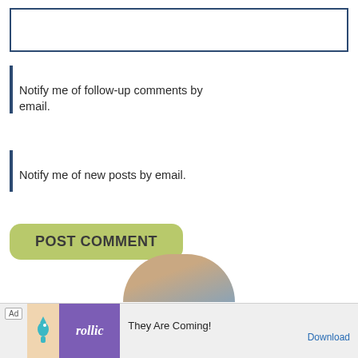[Figure (other): Text input field with dark blue border]
Notify me of follow-up comments by email.
Notify me of new posts by email.
POST COMMENT
[Figure (photo): Partial circular profile photo showing top of a person's head with background]
Ad  They Are Coming!  Download